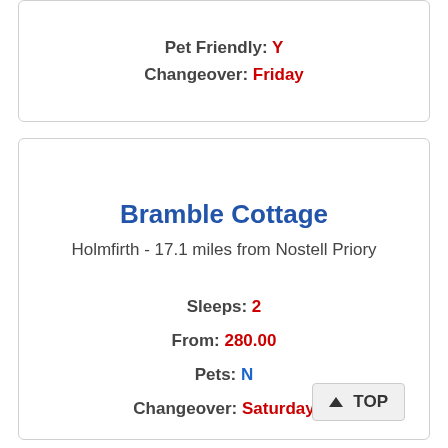Pet Friendly: Y
Changeover: Friday
Bramble Cottage
Holmfirth - 17.1 miles from Nostell Priory
Sleeps: 2
From: 280.00
Pets: N
Changeover: Saturday